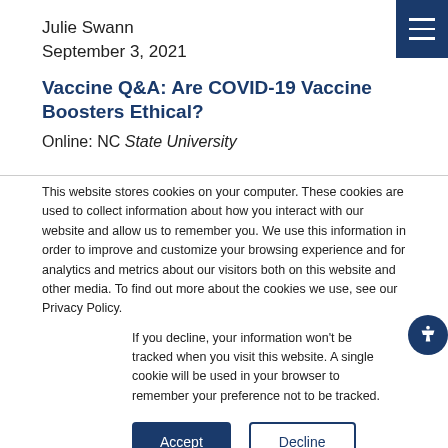Julie Swann
September 3, 2021
Vaccine Q&A: Are COVID-19 Vaccine Boosters Ethical?
Online: NC State University
This website stores cookies on your computer. These cookies are used to collect information about how you interact with our website and allow us to remember you. We use this information in order to improve and customize your browsing experience and for analytics and metrics about our visitors both on this website and other media. To find out more about the cookies we use, see our Privacy Policy.
If you decline, your information won’t be tracked when you visit this website. A single cookie will be used in your browser to remember your preference not to be tracked.